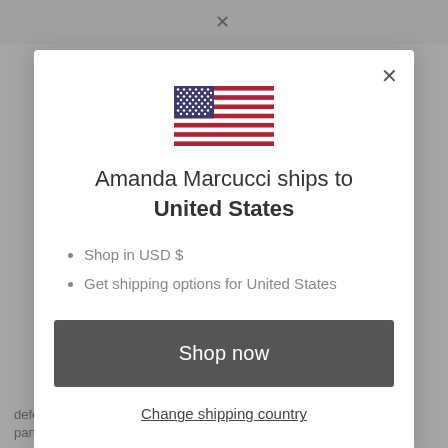WORLDWIDE SHIPPING
[Figure (illustration): US flag SVG illustration]
Amanda Marcucci ships to United States
Shop in USD $
Get shipping options for United States
Shop now
Change shipping country
defenders of your Intellectual Property or any of the rights of a third-party.